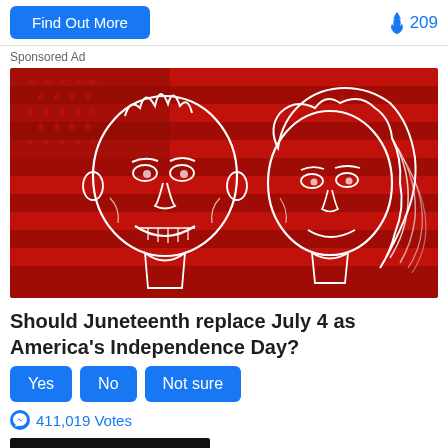[Figure (other): Find Out More button on left and fire emoji with 209 count on right, in a top action bar]
Sponsored Ad
[Figure (illustration): Red background illustration with white line-art caricatures of two political figures (man and woman) in front of an American flag pattern]
Should Juneteenth replace July 4 as America's Independence Day?
[Figure (other): Three blue rounded buttons: Yes, No, Not sure]
411,019 Votes
[Figure (photo): Partial bottom image, dark/black, partially visible at page bottom]